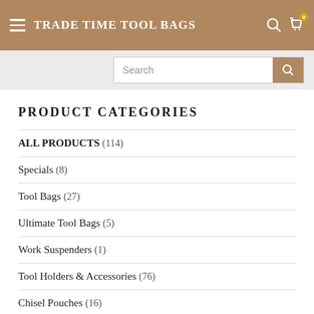TRADE TIME TOOL BAGS
Search
PRODUCT CATEGORIES
ALL PRODUCTS  (114)
Specials  (8)
Tool Bags  (27)
Ultimate Tool Bags  (5)
Work Suspenders  (1)
Tool Holders & Accessories  (76)
Chisel Pouches  (16)